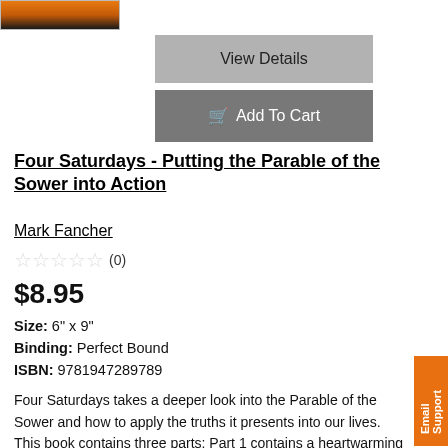[Figure (photo): Book cover image showing a sunset silhouette scene with orange and dark tones]
View Details
Add To Cart
Four Saturdays - Putting the Parable of the Sower into Action
Mark Fancher
☆☆☆☆☆ (0)
$8.95
Size: 6" x 9"
Binding: Perfect Bound
ISBN: 9781947289789
Four Saturdays takes a deeper look into the Parable of the Sower and how to apply the truths it presents into our lives. This book contains three parts: Part 1 contains a heartwarming and inspiring story of life changing lessons that a father taught his son, containing truths found in the Parable of the Sower. Each Saturday they embarked on a new adventure together as the son learned